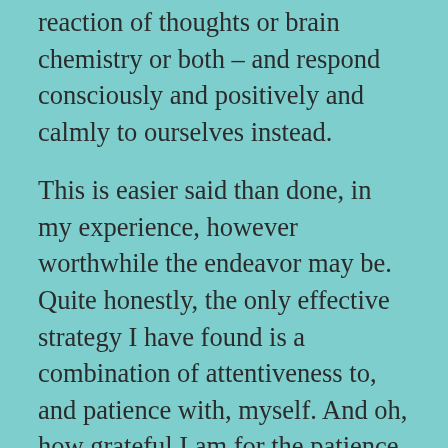reaction of thoughts or brain chemistry or both – and respond consciously and positively and calmly to ourselves instead.
This is easier said than done, in my experience, however worthwhile the endeavor may be. Quite honestly, the only effective strategy I have found is a combination of attentiveness to, and patience with, myself. And oh, how grateful I am for the patience, as well as empathy, that is extended to me by those who love me, who understand me, who are similarly introspective and cognizant and earnestly endeavoring. I've written about this here before, and I'll do so again. Never